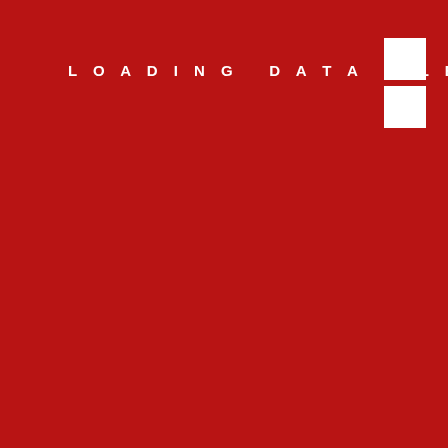LOADING DATA PLEASE WAIT....
[Figure (other): Two white squares stacked vertically in the top-right corner of a red background]